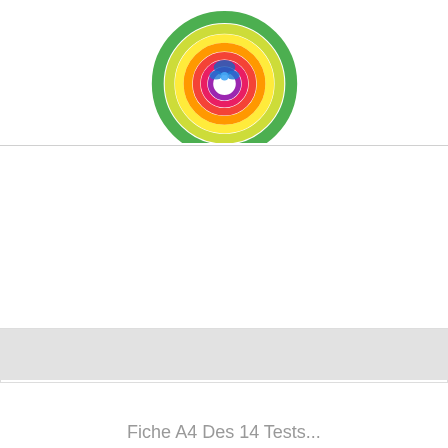[Figure (illustration): Colorful wheel/color wheel diagram partially visible at the top of the first product card]
Copy Of La Roue Des...
€21.80 €20.71
[Figure (illustration): Medical diagram showing neuro-vascular corrections with two skull illustrations (front and side view) with colored dots marking correction points, and detailed text sections with colored category headers below]
Fiche A4 Des 14 Tests...